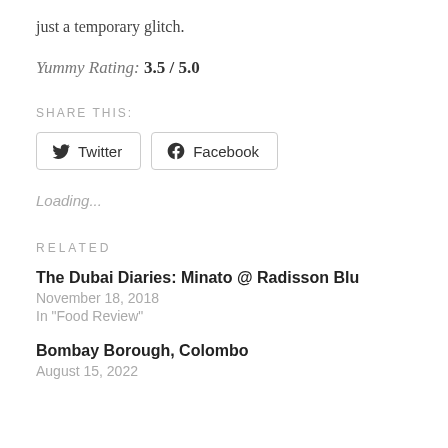just a temporary glitch.
Yummy Rating: 3.5 / 5.0
SHARE THIS:
Twitter  Facebook
Loading...
RELATED
The Dubai Diaries: Minato @ Radisson Blu
November 18, 2018
In "Food Review"
Bombay Borough, Colombo
August 15, 2022